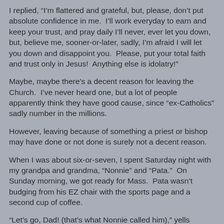I replied, “I’m flattered and grateful, but, please, don’t put absolute confidence in me.  I’ll work everyday to earn and keep your trust, and pray daily I’ll never, ever let you down, but, believe me, sooner-or-later, sadly, I’m afraid I will let you down and disappoint you.  Please, put your total faith and trust only in Jesus!  Anything else is idolatry!”
Maybe, maybe there’s a decent reason for leaving the Church.  I’ve never heard one, but a lot of people apparently think they have good cause, since “ex-Catholics” sadly number in the millions.
However, leaving because of something a priest or bishop may have done or not done is surely not a decent reason.
When I was about six-or-seven, I spent Saturday night with my grandpa and grandma, “Nonnie” and “Pata.”  On Sunday morning, we got ready for Mass.  Pata wasn’t budging from his EZ chair with the sports page and a second cup of coffee.
“Let’s go, Dad! (that’s what Nonnie called him),” yells Nonnie.